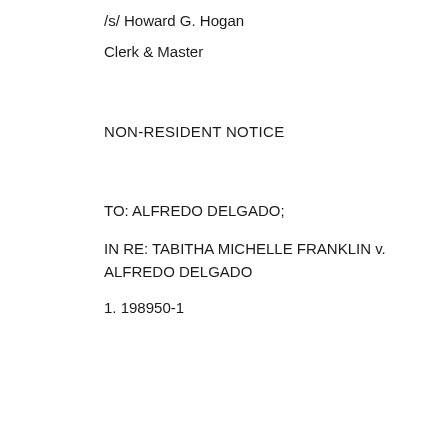/s/ Howard G. Hogan
Clerk & Master
NON-RESIDENT NOTICE
TO: ALFREDO DELGADO;
IN RE: TABITHA MICHELLE FRANKLIN v. ALFREDO DELGADO
1. 198950-1